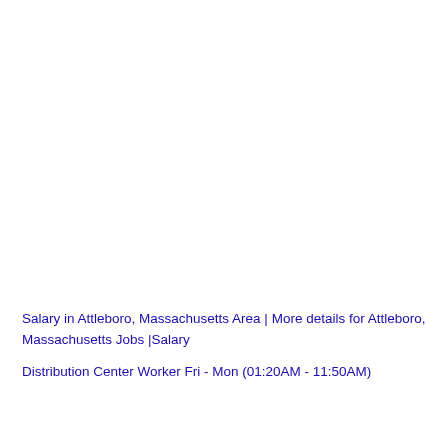Salary in Attleboro, Massachusetts Area | More details for Attleboro, Massachusetts Jobs |Salary
Distribution Center Worker Fri - Mon (01:20AM - 11:50AM)